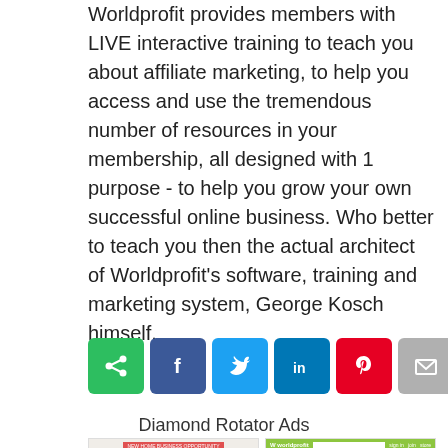Worldprofit provides members with LIVE interactive training to teach you about affiliate marketing, to help you access and use the tremendous number of resources in your membership, all designed with 1 purpose - to help you grow your own successful online business. Who better to teach you then the actual architect of Worldprofit's software, training and marketing system, George Kosch himself.
[Figure (infographic): Social sharing buttons: green share icon, Facebook (blue), Twitter (blue), LinkedIn (blue), Pinterest (red), Email (grey)]
Diamond Rotator Ads
[Figure (screenshot): Two website screenshots side by side. Left: an affiliate marketing landing page with red banner, headline 'Earn UP to $10,000 a Month Just By Sharing Our Free Zoom Events (No Experience Necessary)', input field, and green 'Get Instant Access' button. Right: a Worldprofit website with green navigation bar, filter search, and product listings.]